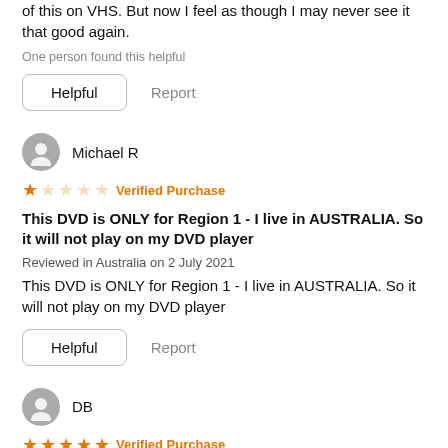of this on VHS. But now I feel as though I may never see it that good again.
One person found this helpful
Helpful   Report
Michael R
1 star - Verified Purchase
This DVD is ONLY for Region 1 - I live in AUSTRALIA. So it will not play on my DVD player
Reviewed in Australia on 2 July 2021
This DVD is ONLY for Region 1 - I live in AUSTRALIA. So it will not play on my DVD player
Helpful   Report
DB
5 stars - Verified Purchase
Great movie